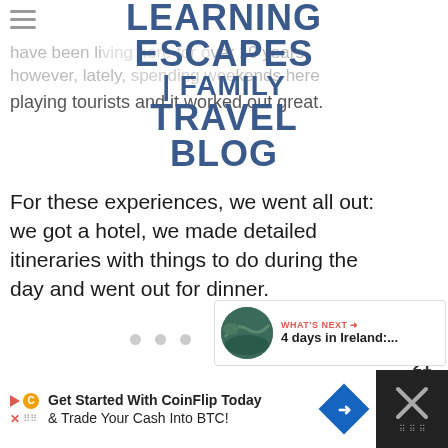LEARNING ESCAPES | FAMILY TRAVEL BLOG
have been living here for over 10 years however, lately, spending weekends here playing tourists and it worked out great.
For these experiences, we went all out: we got a hotel, we made detailed itineraries with things to do during the day and went out for dinner.
[Figure (other): Heart/like button showing count 21 and share button on right side]
[Figure (other): What's Next panel with coastal image thumbnail, label WHAT'S NEXT, and text 4 days in Ireland:...]
[Figure (other): Bottom advertisement banner: Get Started With CoinFlip Today & Trade Your Cash Into BTC!]